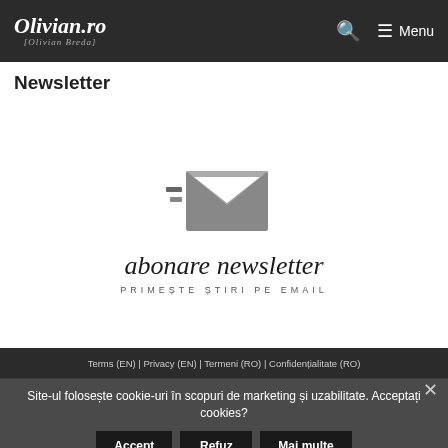Olivian.ro [Olivian Breda] — Menu
Newsletter
[Figure (illustration): Newsletter subscription graphic with envelope icon, cursive text 'abonare newsletter' and subtitle 'PRIMESTE ȘTIRI PE EMAIL']
Terms (EN) | Privacy (EN) | Termeni (RO) | Confidențialitate (RO)
Site-ul folosește cookie-uri în scopuri de marketing și uzabilitate. Acceptați cookies?
Accept
Refuz
Mai multe